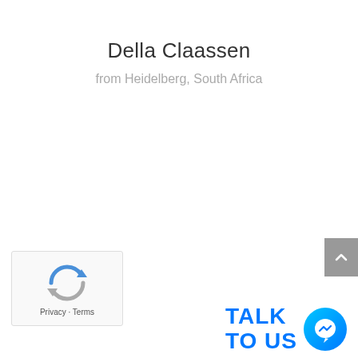Della Claassen
from Heidelberg, South Africa
[Figure (logo): Google reCAPTCHA widget with recycling arrow logo and 'Privacy · Terms' text below]
[Figure (logo): Facebook Messenger 'TALK TO US' chat widget with blue Messenger logo icon]